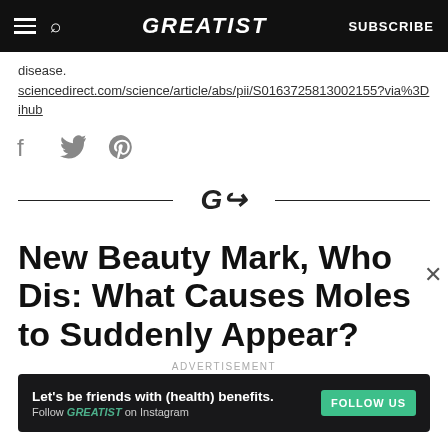GREATIST | SUBSCRIBE
disease.
sciencedirect.com/science/article/abs/pii/S016372581300215​5?via%3Dihub
[Figure (other): Social sharing icons: Facebook, Twitter, Pinterest]
[Figure (logo): Greatist circular logo/icon divider with horizontal rules on each side]
New Beauty Mark, Who Dis: What Causes Moles to Suddenly Appear?
ADVERTISEMENT
[Figure (other): Advertisement banner: Let's be friends with (health) benefits. Follow GREATIST on Instagram. FOLLOW US button.]